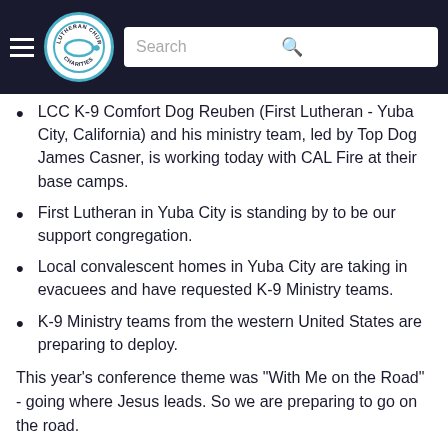including a great-grandmother and two great-children 30,000 people have been evacuated with more expected.
LCC K-9 Comfort Dog Reuben (First Lutheran - Yuba City, California) and his ministry team, led by Top Dog James Casner, is working today with CAL Fire at their base camps.
First Lutheran in Yuba City is standing by to be our support congregation.
Local convalescent homes in Yuba City are taking in evacuees and have requested K-9 Ministry teams.
K-9 Ministry teams from the western United States are preparing to deploy.
This year's conference theme was "With Me on the Road" - going where Jesus leads. So we are preparing to go on the road.